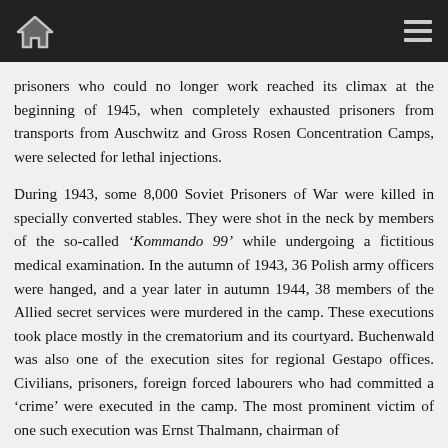[Home icon] [Menu icon]
prisoners who could no longer work reached its climax at the beginning of 1945, when completely exhausted prisoners from transports from Auschwitz and Gross Rosen Concentration Camps, were selected for lethal injections.
During 1943, some 8,000 Soviet Prisoners of War were killed in specially converted stables. They were shot in the neck by members of the so-called ‘Kommando 99’ while undergoing a fictitious medical examination. In the autumn of 1943, 36 Polish army officers were hanged, and a year later in autumn 1944, 38 members of the Allied secret services were murdered in the camp. These executions took place mostly in the crematorium and its courtyard. Buchenwald was also one of the execution sites for regional Gestapo offices. Civilians, prisoners, foreign forced labourers who had committed a ‘crime’ were executed in the camp. The most prominent victim of one such execution was Ernst Thalmann, chairman of